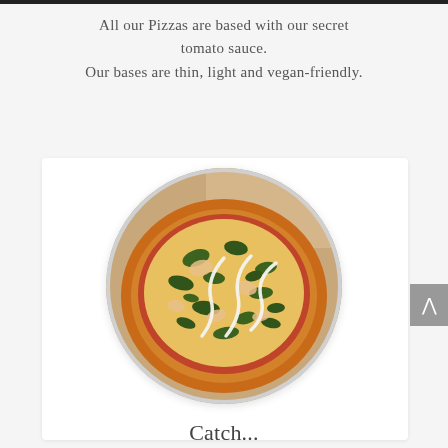All our Pizzas are based with our secret tomato sauce.
Our bases are thin, light and vegan-friendly.
[Figure (photo): A round pizza with spinach, cheese and white sauce drizzle, displayed in a circular frame inside a white card, set on a light grey background.]
Catch...